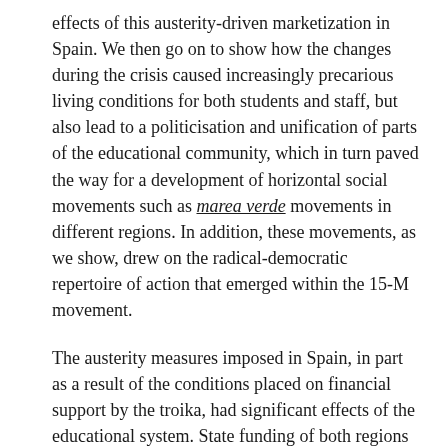effects of this austerity-driven marketization in Spain. We then go on to show how the changes during the crisis caused increasingly precarious living conditions for both students and staff, but also lead to a politicisation and unification of parts of the educational community, which in turn paved the way for a development of horizontal social movements such as marea verde movements in different regions. In addition, these movements, as we show, drew on the radical-democratic repertoire of action that emerged within the 15-M movement.
The austerity measures imposed in Spain, in part as a result of the conditions placed on financial support by the troika, had significant effects of the educational system. State funding of both regions and the central state were slashed. Neoliberal marketization was strengthened and democratic mechanisms within educational institutions were removed. The Government also introduce